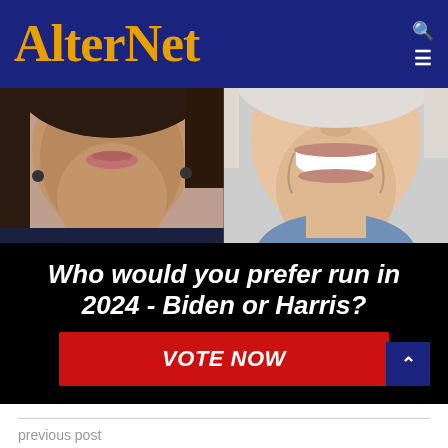AlterNet
[Figure (photo): Side-by-side cropped photos of Kamala Harris (left) and Joe Biden (right), showing faces from nose to chin/neck area]
Who would you prefer run in 2024 - Biden or Harris?
VOTE NOW
previous post
Donald Trump's ex-aides think there are 'more highly